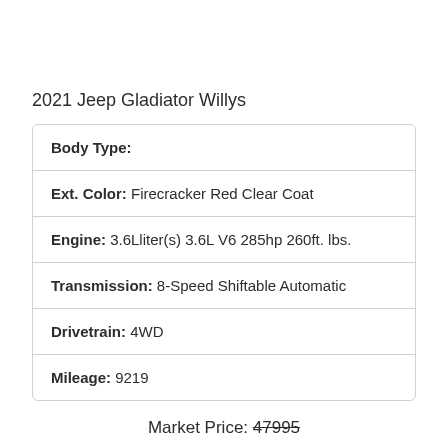2021 Jeep Gladiator Willys
| Body Type: |  |
| Ext. Color: | Firecracker Red Clear Coat |
| Engine: | 3.6Lliter(s) 3.6L V6 285hp 260ft. lbs. |
| Transmission: | 8-Speed Shiftable Automatic |
| Drivetrain: | 4WD |
| Mileage: | 9219 |
Market Price: 47995